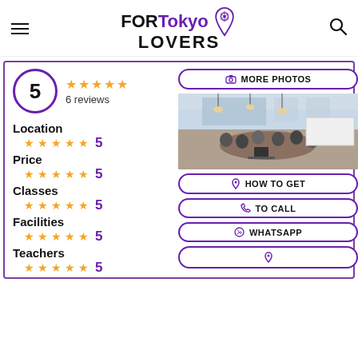FORTokyo LOVERS
[Figure (infographic): Rating card showing score of 5 with 5 stars and 6 reviews, with category ratings for Location, Price, Classes, Facilities, Teachers all rated 5]
[Figure (photo): Indoor coworking/classroom space with people gathered around a table, pendant lights, and whiteboards]
MORE PHOTOS
HOW TO GET
TO CALL
WHATSAPP